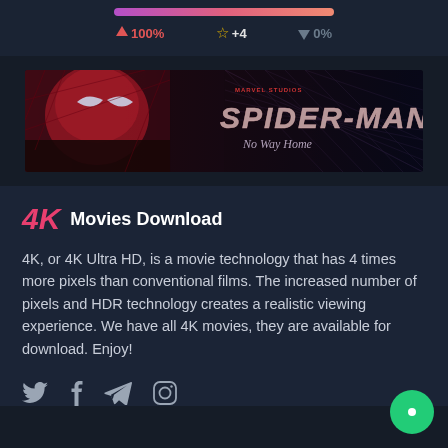[Figure (infographic): Progress bar with gradient from purple to pink/red, showing stats: up arrow 100%, star +4, down arrow 0%]
[Figure (photo): Spider-Man: No Way Home movie banner with Spider-Man in costume and stylized title text on dark background with web pattern]
4K Movies Download
4K, or 4K Ultra HD, is a movie technology that has 4 times more pixels than conventional films. The increased number of pixels and HDR technology creates a realistic viewing experience. We have all 4K movies, they are available for download. Enjoy!
[Figure (infographic): Social media icons: Twitter, Facebook, Telegram, Instagram]